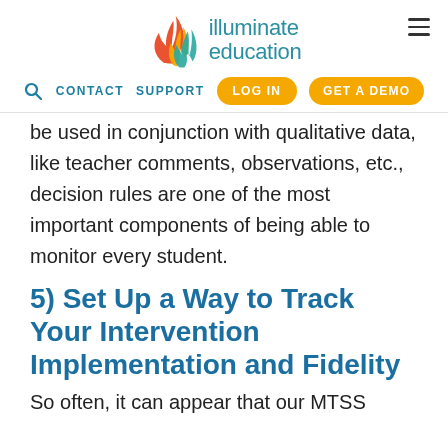[Figure (logo): Illuminate Education logo with flame icon in blue, teal, orange, and yellow, with text 'illuminate education' in teal]
CONTACT  SUPPORT  LOG IN  GET A DEMO
be used in conjunction with qualitative data, like teacher comments, observations, etc., decision rules are one of the most important components of being able to monitor every student.
5) Set Up a Way to Track Your Intervention Implementation and Fidelity
So often, it can appear that our MTSS